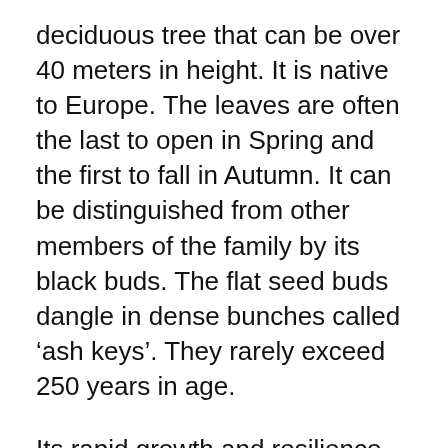deciduous tree that can be over 40 meters in height. It is native to Europe. The leaves are often the last to open in Spring and the first to fall in Autumn. It can be distinguished from other members of the family by its black buds. The flat seed buds dangle in dense bunches called ‘ash keys’. They rarely exceed 250 years in age.
Its rapid growth and resilience meant it was widely used providing building timber and firewood as well as tool handles and bows, tennis rackets and snooker cues. It was widely coppiced on a ten year cycle.
It is sad that over the last decade ash ‘dieback’ has spread across Europe including the UK. This is caused by a fungus.